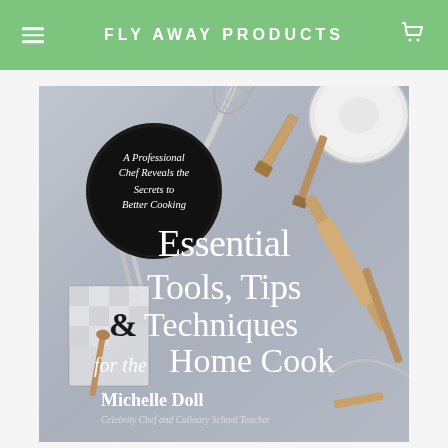FLY AWAY PRODUCTS
[Figure (photo): Book cover of 'Essential Tools, Tips & Techniques for the Home Cook' by Michelle Doll, Celebrity Chef and Culinary School Teacher. Features kitchen utensils including a whisk, tongs, wooden tools, rolling pin, and a frying pan on a gray surface. A dark circular badge reads 'A Professional Chef Reveals the Secrets to Better Cooking'.]